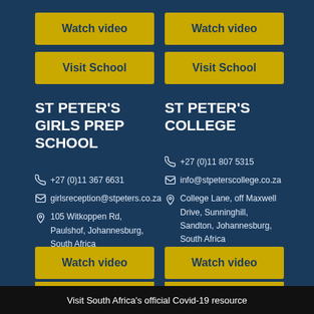Watch video
Visit School
Watch video
Visit School
ST PETER'S GIRLS PREP SCHOOL
ST PETER'S COLLEGE
+27 (0)11 367 6631
girlsreception@stpeters.co.za
105 Witkoppen Rd, Paulshof, Johannesburg, South Africa
+27 (0)11 807 5315
info@stpeterscollege.co.za
College Lane, off Maxwell Drive, Sunninghill, Sandton, Johannesburg, South Africa
Watch video
Watch video
Visit South Africa's official Covid-19 resource